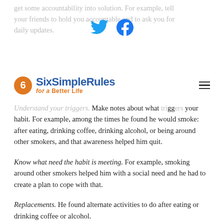get some accountability into solution. For example, tell your friends to hold you accountable and to ask you for daily updates.
[Figure (other): Twitter and Facebook social media icons displayed in a row]
SixSimpleRules for a Better Life
Understand your triggers. Make notes about what triggers your habit. For example, among the times he found he would smoke: after eating, drinking coffee, drinking alcohol, or being around other smokers, and that awareness helped him quit.
Know what need the habit is meeting. For example, smoking around other smokers helped him with a social need and he had to create a plan to cope with that.
Replacements. He found alternate activities to do after eating or drinking coffee or alcohol.
Reminders. Leo put up visual reminders everywhere, especially around where triggers happen.
Try gradual reduction. Leo quit smoking cold turkey, but